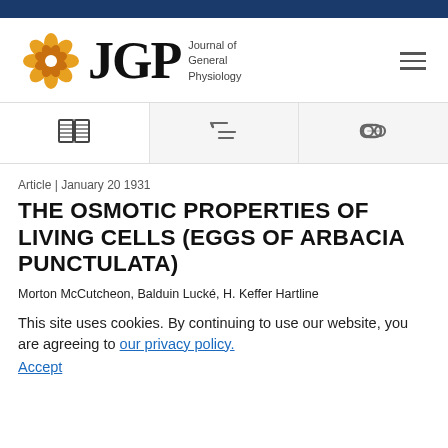[Figure (logo): JGP Journal of General Physiology logo with golden circular emblem and hamburger menu icon]
[Figure (other): Navigation icon bar with three icons: open book, citation/list icon, and link/chain icon]
Article | January 20 1931
THE OSMOTIC PROPERTIES OF LIVING CELLS (EGGS OF ARBACIA PUNCTULATA)
Morton McCutcheon, Balduin Lucké, H. Keffer Hartline
This site uses cookies. By continuing to use our website, you are agreeing to our privacy policy. Accept